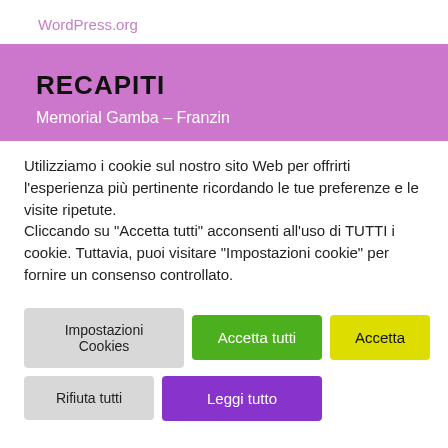WordPress.org
RECAPITI
Memorial Gamba – Franzin
Utilizziamo i cookie sul nostro sito Web per offrirti l'esperienza più pertinente ricordando le tue preferenze e le visite ripetute.
Cliccando su "Accetta tutti" acconsenti all'uso di TUTTI i cookie. Tuttavia, puoi visitare "Impostazioni cookie" per fornire un consenso controllato.
Impostazioni Cookies | Accetta tutti | Accetta | Rifiuta tutti | Leggi tutto